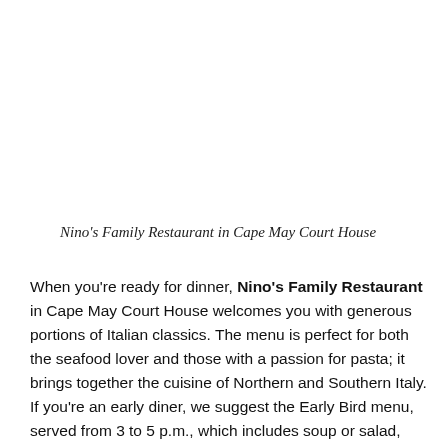Nino's Family Restaurant in Cape May Court House
When you're ready for dinner, Nino's Family Restaurant in Cape May Court House welcomes you with generous portions of Italian classics. The menu is perfect for both the seafood lover and those with a passion for pasta; it brings together the cuisine of Northern and Southern Italy. If you're an early diner, we suggest the Early Bird menu, served from 3 to 5 p.m., which includes soup or salad, bread and butter, entrée, coffee or tea and the daily